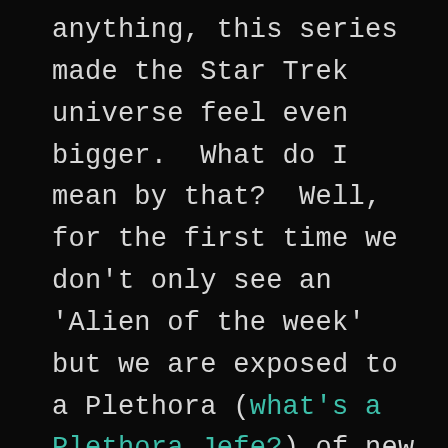anything, this series made the Star Trek universe feel even bigger.  What do I mean by that?  Well, for the first time we don't only see an 'Alien of the week' but we are exposed to a Plethora (what's a Plethora Jefe?) of new aliens and beings from the far reaches of the galaxy on a regular basis.  Just watching a single scene on the Promenade of the station will show you the depth and variety of the species in the Star Trek Universe.   It gives us more than just a one dimensional view of various species like Vulcans, Klingons, Cardassians, Ferengi and Romulans, it shows them as living breathing cultures and that is amazing.